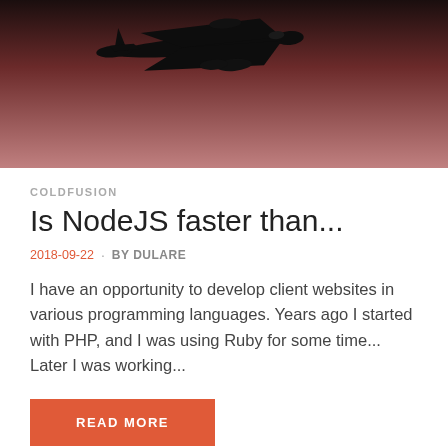[Figure (photo): Dark reddish-pink sky with airplane silhouette flying overhead, viewed from below]
COLDFUSION
Is NodeJS faster than...
2018-09-22 · BY DULARE
I have an opportunity to develop client websites in various programming languages. Years ago I started with PHP, and I was using Ruby for some time... Later I was working...
READ MORE